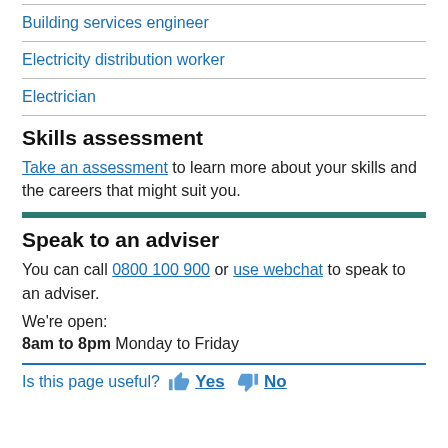Building services engineer
Electricity distribution worker
Electrician
Skills assessment
Take an assessment to learn more about your skills and the careers that might suit you.
Speak to an adviser
You can call 0800 100 900 or use webchat to speak to an adviser.
We're open:
8am to 8pm Monday to Friday
Is this page useful?  Yes  No